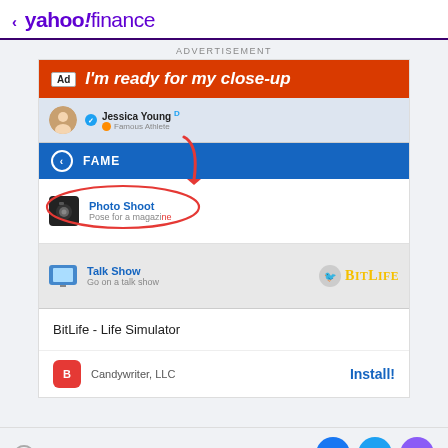< yahoo!finance
ADVERTISEMENT
[Figure (screenshot): Advertisement for BitLife - Life Simulator app. Shows 'Ad I'm ready for my close-up' banner in red/orange, a game UI showing Jessica Young (Famous Athlete) profile, FAME menu with Photo Shoot option highlighted with red oval and arrow, Talk Show option with BitLife logo, app name 'BitLife - Life Simulator', publisher Candywriter LLC with Install button.]
View comments
Facebook, Twitter, Email share icons